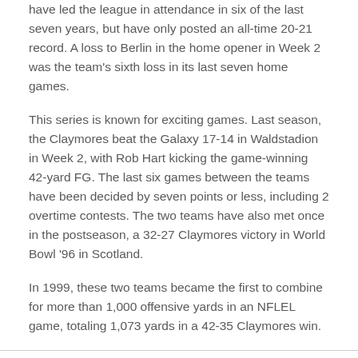have led the league in attendance in six of the last seven years, but have only posted an all-time 20-21 record. A loss to Berlin in the home opener in Week 2 was the team's sixth loss in its last seven home games.
This series is known for exciting games. Last season, the Claymores beat the Galaxy 17-14 in Waldstadion in Week 2, with Rob Hart kicking the game-winning 42-yard FG. The last six games between the teams have been decided by seven points or less, including 2 overtime contests. The two teams have also met once in the postseason, a 32-27 Claymores victory in World Bowl '96 in Scotland.
In 1999, these two teams became the first to combine for more than 1,000 offensive yards in an NFLEL game, totaling 1,073 yards in a 42-35 Claymores win.
[Figure (infographic): Row of four social media sharing icons: Facebook, Twitter, Email, and a chain/link icon, displayed as circle outlines with icons inside.]